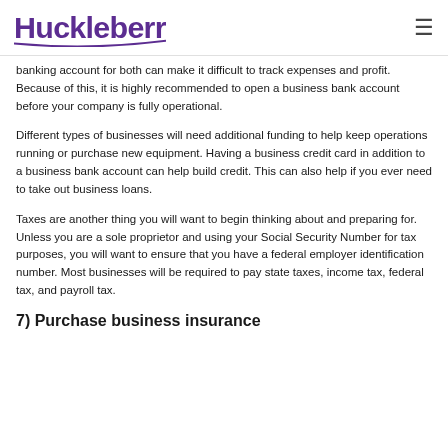Huckleberry [logo] [menu icon]
banking account for both can make it difficult to track expenses and profit. Because of this, it is highly recommended to open a business bank account before your company is fully operational.
Different types of businesses will need additional funding to help keep operations running or purchase new equipment. Having a business credit card in addition to a business bank account can help build credit. This can also help if you ever need to take out business loans.
Taxes are another thing you will want to begin thinking about and preparing for. Unless you are a sole proprietor and using your Social Security Number for tax purposes, you will want to ensure that you have a federal employer identification number. Most businesses will be required to pay state taxes, income tax, federal tax, and payroll tax.
7) Purchase business insurance